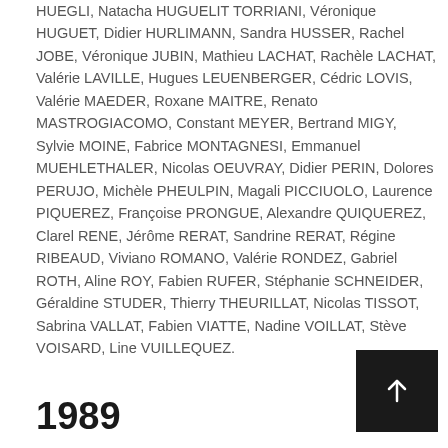HUEGLI, Natacha HUGUELIT TORRIANI, Véronique HUGUET, Didier HURLIMANN, Sandra HUSSER, Rachel JOBE, Véronique JUBIN, Mathieu LACHAT, Rachèle LACHAT, Valérie LAVILLE, Hugues LEUENBERGER, Cédric LOVIS, Valérie MAEDER, Roxane MAITRE, Renato MASTROGIACOMO, Constant MEYER, Bertrand MIGY, Sylvie MOINE, Fabrice MONTAGNESI, Emmanuel MUEHLETHALER, Nicolas OEUVRAY, Didier PERIN, Dolores PERUJO, Michèle PHEULPIN, Magali PICCIUOLO, Laurence PIQUEREZ, Françoise PRONGUE, Alexandre QUIQUEREZ, Clarel RENE, Jérôme RERAT, Sandrine RERAT, Régine RIBEAUD, Viviano ROMANO, Valérie RONDEZ, Gabriel ROTH, Aline ROY, Fabien RUFER, Stéphanie SCHNEIDER, Géraldine STUDER, Thierry THEURILLAT, Nicolas TISSOT, Sabrina VALLAT, Fabien VIATTE, Nadine VOILLAT, Stève VOISARD, Line VUILLEQUEZ.
1989